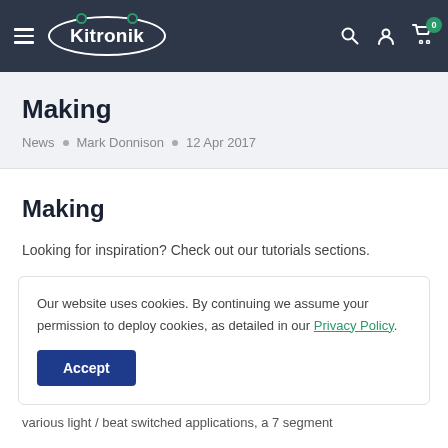Kitronik — navigation bar with hamburger menu, logo, search, account, and cart icons
Making
News • Mark Donnison • 12 Apr 2017
Making
Looking for inspiration? Check out our tutorials sections.
Our website uses cookies. By continuing we assume your permission to deploy cookies, as detailed in our Privacy Policy.
Accept
various light / beat switched applications, a 7 segment